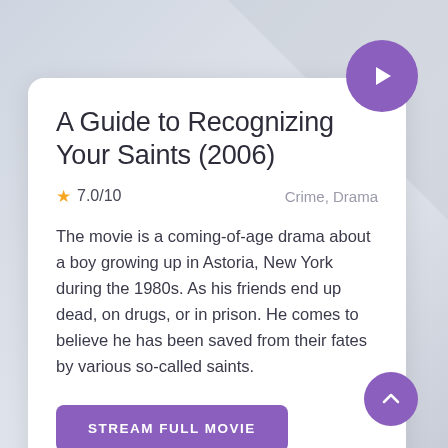A Guide to Recognizing Your Saints (2006)
7.0/10   Crime, Drama
The movie is a coming-of-age drama about a boy growing up in Astoria, New York during the 1980s. As his friends end up dead, on drugs, or in prison. He comes to believe he has been saved from their fates by various so-called saints.
STREAM FULL MOVIE